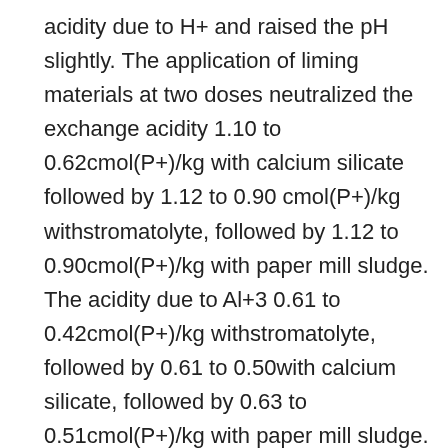acidity due to H+ and raised the pH slightly. The application of liming materials at two doses neutralized the exchange acidity 1.10 to 0.62cmol(P+)/kg with calcium silicate followed by 1.12 to 0.90 cmol(P+)/kg withstromatolyte, followed by 1.12 to 0.90cmol(P+)/kg with paper mill sludge. The acidity due to Al+3 0.61 to 0.42cmol(P+)/kg withstromatolyte, followed by 0.61 to 0.50with calcium silicate, followed by 0.63 to 0.51cmol(P+)/kg with paper mill sludge. The acidity due to H+ 0.48 to 0.45cmol(P+)/kg withstromatolyte, followed by 0.46 to 0.38 cmol(P+)/kg with paper mill sludge followed by 0.46 to 0.12cmol(P+)/kg with calcium silicate. The pH from 5.0 to 5.9 withstromatolyte, followed by 5.2 to 6.0 with calcium silicate, followed by 5.0 to